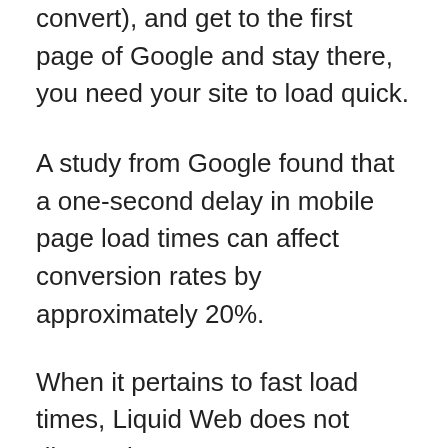convert), and get to the first page of Google and stay there, you need your site to load quick.
A study from Google found that a one-second delay in mobile page load times can affect conversion rates by approximately 20%.
When it pertains to fast load times, Liquid Web does not disappoint!
I have produced a test site hosted on LiquidWeb.com to keep an eye on uptime and server reaction time:
The above screenshot just reveals the past 30 days, you can view historic uptime information and server